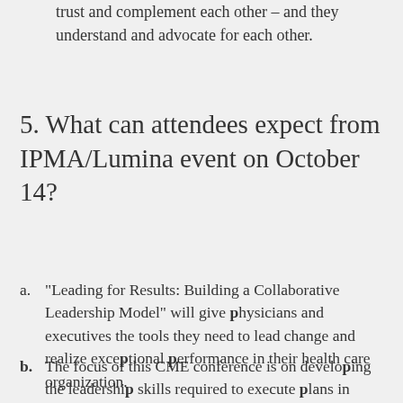trust and complement each other – and they understand and advocate for each other.
5. What can attendees expect from IPMA/Lumina event on October 14?
a. "Leading for Results: Building a Collaborative Leadership Model" will give physicians and executives the tools they need to lead change and realize exceptional performance in their health care organization.
b. The focus of this CME conference is on developing the leadership skills required to execute plans in today's complex health